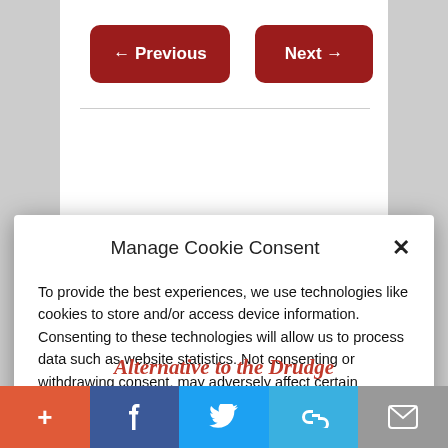← Previous   Next →
Manage Cookie Consent
To provide the best experiences, we use technologies like cookies to store and/or access device information. Consenting to these technologies will allow us to process data such as website statistics. Not consenting or withdrawing consent, may adversely affect certain features and functions.
Accept
Cookie Policy   Privacy Policy
Alternative to the Drudge
+ f Twitter link mail